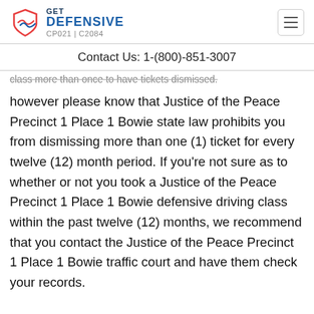GET DEFENSIVE CP021 | C2084
Contact Us: 1-(800)-851-3007
class more than once to have tickets dismissed.
however please know that Justice of the Peace Precinct 1 Place 1 Bowie state law prohibits you from dismissing more than one (1) ticket for every twelve (12) month period. If you're not sure as to whether or not you took a Justice of the Peace Precinct 1 Place 1 Bowie defensive driving class within the past twelve (12) months, we recommend that you contact the Justice of the Peace Precinct 1 Place 1 Bowie traffic court and have them check your records.